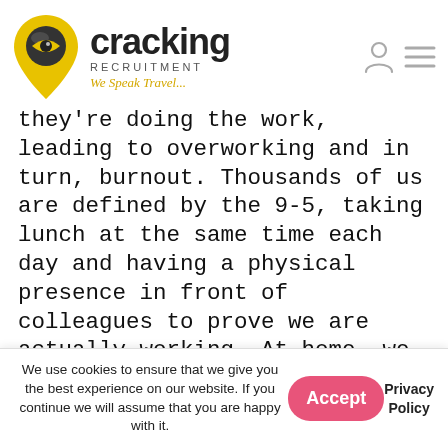cracking RECRUITMENT We Speak Travel...
they're doing the work, leading to overworking and in turn, burnout. Thousands of us are defined by the 9-5, taking lunch at the same time each day and having a physical presence in front of colleagues to prove we are actually working. At home, we don't have this way of 'proving' ourselves.
So team leads must show that they trust their team, they can do this by being flexible and less formal, where
We use cookies to ensure that we give you the best experience on our website. If you continue we will assume that you are happy with it. | Accept | Privacy Policy